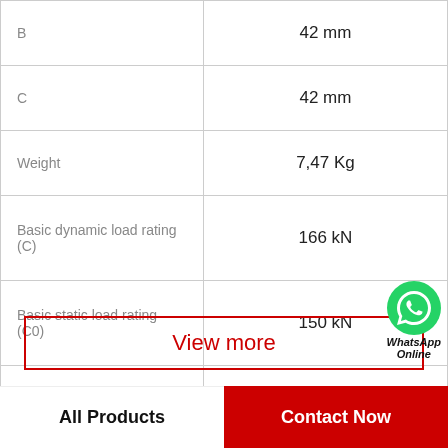| Parameter | Value |
| --- | --- |
| B | 42 mm |
| C | 42 mm |
| Weight | 7,47 Kg |
| Basic dynamic load rating (C) | 166 kN |
| Basic static load rating (C0) | 150 kN |
| (Grease) Lubrication Speed | 2500 r/min |
View more
All Products
Contact Now